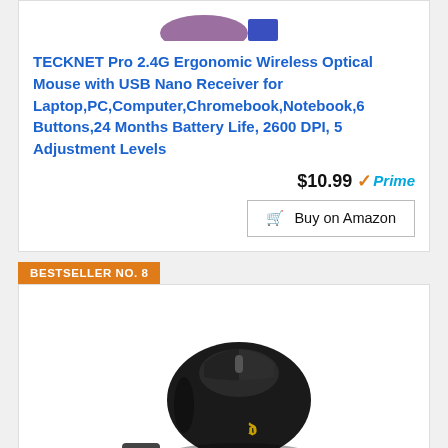[Figure (photo): Partial product image of a wireless mouse, cropped at the top of the card]
TECKNET Pro 2.4G Ergonomic Wireless Optical Mouse with USB Nano Receiver for Laptop,PC,Computer,Chromebook,Notebook,6 Buttons,24 Months Battery Life, 2600 DPI, 5 Adjustment Levels
$10.99 Prime
Buy on Amazon
BESTSELLER NO. 8
[Figure (photo): Black wireless computer mouse with USB dongle, showing a T logo on the side]